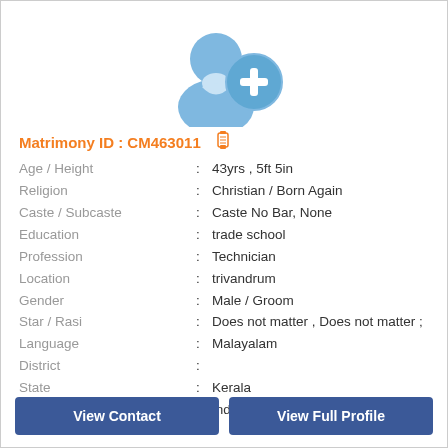[Figure (illustration): Generic user avatar icon (blue silhouette) with a blue circle containing a white plus sign in the bottom right corner]
Matrimony ID : CM463011
| Age / Height | : | 43yrs , 5ft 5in |
| Religion | : | Christian / Born Again |
| Caste / Subcaste | : | Caste No Bar, None |
| Education | : | trade school |
| Profession | : | Technician |
| Location | : | trivandrum |
| Gender | : | Male / Groom |
| Star / Rasi | : | Does not matter , Does not matter ; |
| Language | : | Malayalam |
| District | : |  |
| State | : | Kerala |
| Country | : | India |
View Contact
View Full Profile